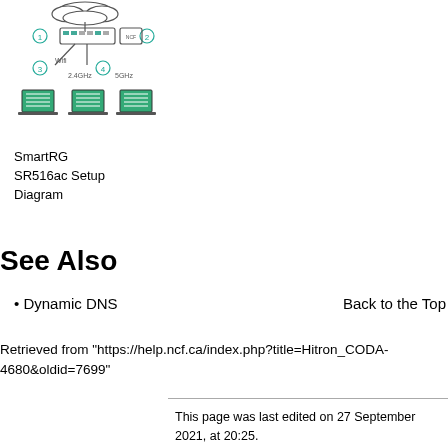[Figure (network-graph): SmartRG SR516ac setup diagram showing network connections with numbered components including router, cables, and multiple laptop computers connected via 2.4GHz and 5GHz wireless bands.]
SmartRG SR516ac Setup Diagram
See Also
Dynamic DNS
Back to the Top
Retrieved from "https://help.ncf.ca/index.php?title=Hitron_CODA-4680&oldid=7699"
This page was last edited on 27 September 2021, at 20:25.